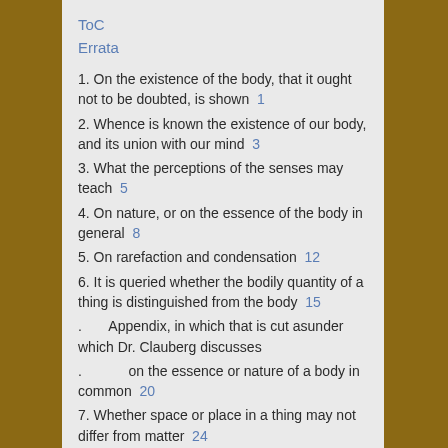ToC
Errata
1. On the existence of the body, that it ought not to be doubted, is shown  1
2. Whence is known the existence of our body, and its union with our mind  3
3. What the perceptions of the senses may teach  5
4. On nature, or on the essence of the body in general  8
5. On rarefaction and condensation  12
6. It is queried whether the bodily quantity of a thing is distinguished from the body  15
.      Appendix, in which that is cut asunder which Dr. Clauberg discusses
.           on the essence or nature of a body in common  20
7. Whether space or place in a thing may not differ from matter  24
8. Nature, or the what-is-it-ness of place, is